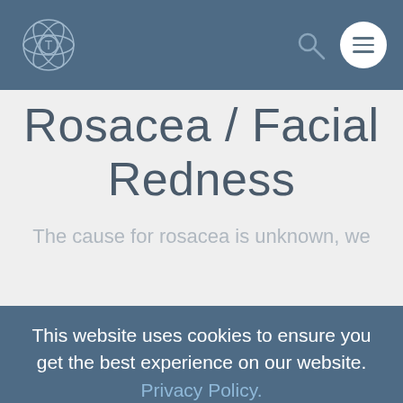[Figure (logo): Circular atom/logo icon with letter T in center, light blue outline, on dark blue-grey navigation bar]
Rosacea / Facial Redness
The cause for rosacea is unknown, we
This website uses cookies to ensure you get the best experience on our website. Privacy Policy.
ACCEPT